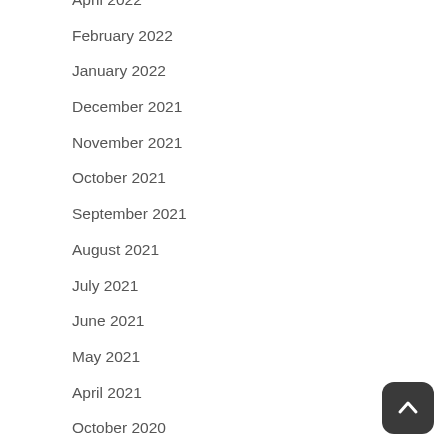April 2022
February 2022
January 2022
December 2021
November 2021
October 2021
September 2021
August 2021
July 2021
June 2021
May 2021
April 2021
October 2020
March 2018
February 2018
November 2016